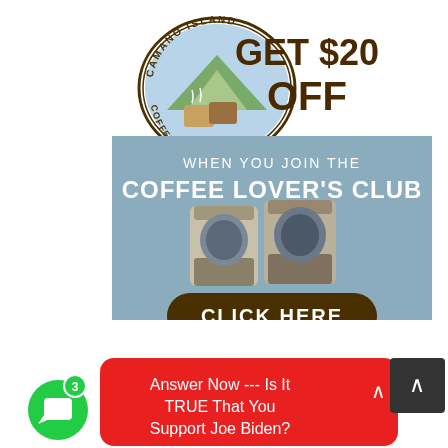[Figure (advertisement): Camano Island Coffee Roasters advertisement. Logo oval with mountain/coffee image on left. Large text GET $20 OFF. Blue-gray banner below: WHEN YOU JOIN THE COFFEE LOVER'S CLUB. Two coffee bags image. Dark brown rounded button: CLICK HERE.]
[Figure (screenshot): Red rounded notification widget at bottom center: Answer Now --- Is It TRUE That You Support Joe Biden? with a collapse arrow. Green chat icon with badge showing 3. Dark gray back-to-top button on right.]